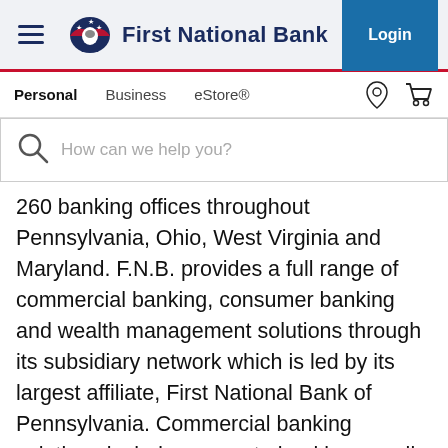[Figure (logo): First National Bank website header with hamburger menu, FNB eagle logo and wordmark, and Login button]
Personal   Business   eStore®
[Figure (screenshot): Search bar with magnifying glass icon and placeholder text 'How can we help you?']
260 banking offices throughout Pennsylvania, Ohio, West Virginia and Maryland. F.N.B. provides a full range of commercial banking, consumer banking and wealth management solutions through its subsidiary network which is led by its largest affiliate, First National Bank of Pennsylvania. Commercial banking solutions include corporate banking, small business banking, investment real estate financing, a based lending, capital markets and lease financing. The consumer banking segment provides a full line of consumer banking products and services including deposit